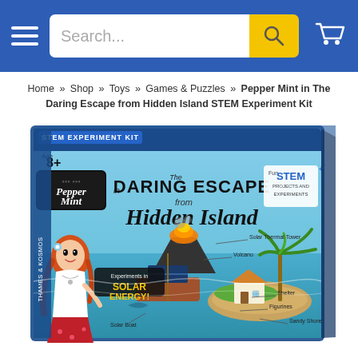Search... [search bar with magnifying glass icon] [cart icon]
Home » Shop » Toys » Games & Puzzles » Pepper Mint in The Daring Escape from Hidden Island STEM Experiment Kit
[Figure (photo): Product box for 'Pepper Mint in The Daring Escape from Hidden Island STEM Experiment Kit' by Thames & Kosmos. The box shows a teal/turquoise background with a cartoon red-haired girl named Pepper Mint, a volcano, solar-powered boat, cottage, palm trees, and beach island scene. Text on box: STEM EXPERIMENT KIT, Age 8+, Pepper Mint in The Daring Escape from Hidden Island, Fun STEM Projects and Experiments, Experiments in Solar Energy!, Thames & Kosmos.]